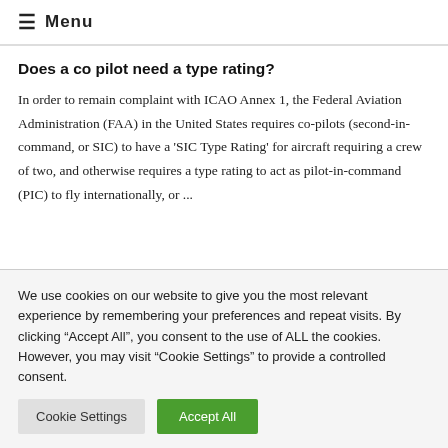≡ Menu
Does a co pilot need a type rating?
In order to remain complaint with ICAO Annex 1, the Federal Aviation Administration (FAA) in the United States requires co-pilots (second-in-command, or SIC) to have a 'SIC Type Rating' for aircraft requiring a crew of two, and otherwise requires a type rating to act as pilot-in-command (PIC) to fly internationally, or ...
We use cookies on our website to give you the most relevant experience by remembering your preferences and repeat visits. By clicking "Accept All", you consent to the use of ALL the cookies. However, you may visit "Cookie Settings" to provide a controlled consent.
Cookie Settings | Accept All